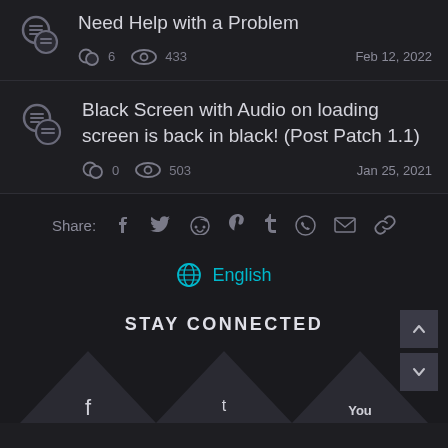Need Help with a Problem — 6 comments, 433 views, Feb 12, 2022
Black Screen with Audio on loading screen is back in black! (Post Patch 1.1) — 0 comments, 503 views, Jan 25, 2021
Share: Facebook Twitter Reddit Pinterest Tumblr WhatsApp Email Link
English
STAY CONNECTED